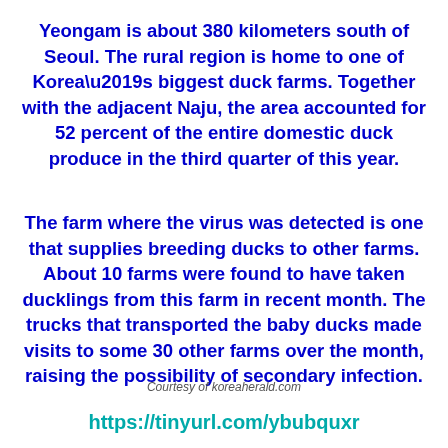Yeongam is about 380 kilometers south of Seoul. The rural region is home to one of Korea’s biggest duck farms. Together with the adjacent Naju, the area accounted for 52 percent of the entire domestic duck produce in the third quarter of this year.
The farm where the virus was detected is one that supplies breeding ducks to other farms. About 10 farms were found to have taken ducklings from this farm in recent month. The trucks that transported the baby ducks made visits to some 30 other farms over the month, raising the possibility of secondary infection.
Courtesy of koreaherald.com
https://tinyurl.com/ybubquxr